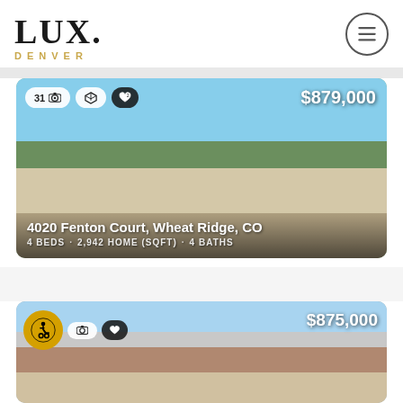[Figure (logo): LUX. DENVER real estate logo — large serif LUX. with DENVER in gold spaced small caps below]
[Figure (photo): Modern two-story white/gray house at 4020 Fenton Court, Wheat Ridge, CO. Blue sky background, large trees on left, two-car garage.]
$879,000
4020 Fenton Court, Wheat Ridge, CO
4 BEDS · 2,942 HOME (SQFT) · 4 BATHS
[Figure (photo): Brick Tudor-style house with peaked gable roof, blue sky with clouds, green foliage on right.]
$875,000